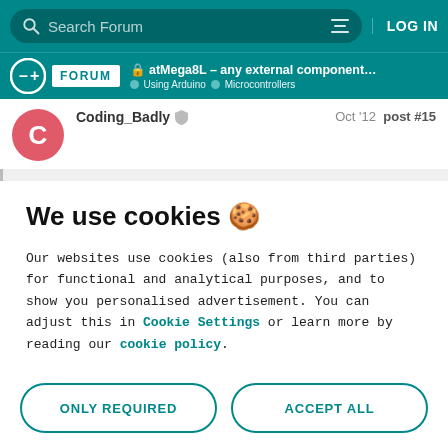Search Forum | LOG IN
atMega8L – any external components req... | Using Arduino > Microcontrollers
Coding_Badly  Oct '12  post #15
We use cookies 🍪
Our websites use cookies (also from third parties) for functional and analytical purposes, and to show you personalised advertisement. You can adjust this in Cookie Settings or learn more by reading our cookie policy.
ONLY REQUIRED
ACCEPT ALL